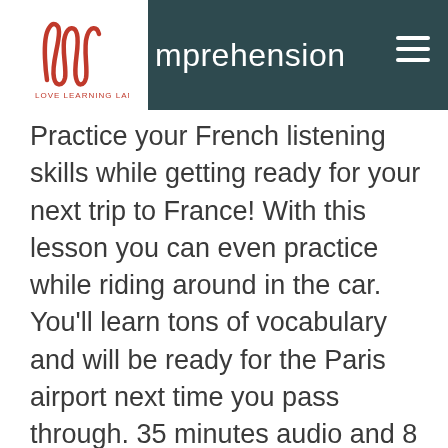mprehension
Practice your French listening skills while getting ready for your next trip to France! With this lesson you can even practice while riding around in the car. You'll learn tons of vocabulary and will be ready for the Paris airport next time you pass through. 35 minutes audio and 8 minutes of video. PDFs of everything to download, a complete transcript so that you can read along if you want to, a quizlet study set so that you can practice and master the new vocabulary and expressions you learn and 3 sets of listening comprehension questions.